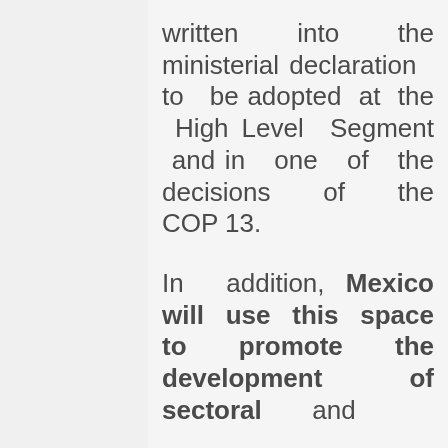written into the ministerial declaration to be adopted at the High Level Segment and in one of the decisions of the COP 13.

In addition, Mexico will use this space to promote the development of sectoral and